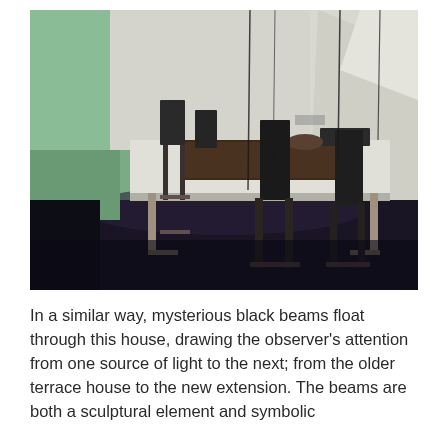[Figure (photo): Interior photograph of a modern dining room with a long white rectangular table surrounded by dark metal chairs. The background features green and white walls with diagonal light patterns. The floor is dark/purple. Thin black cables or wires hang vertically from above.]
In a similar way, mysterious black beams float through this house, drawing the observer's attention from one source of light to the next; from the older terrace house to the new extension. The beams are both a sculptural element and symbolic